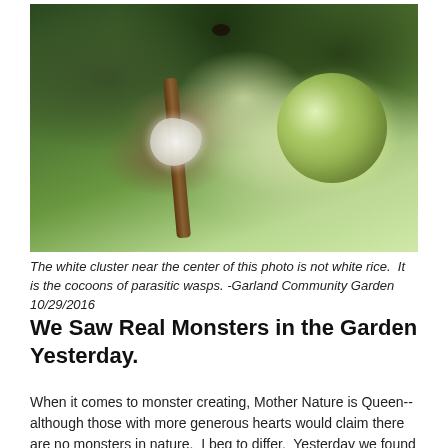[Figure (photo): Close-up photo of a tomato plant with green tomatoes and branches. Near the center of the image is a white cluster which are cocoons of parasitic wasps. A dark insect is visible near the top. The background shows green foliage.]
The white cluster near the center of this photo is not white rice.  It is the cocoons of parasitic wasps. -Garland Community Garden 10/29/2016
We Saw Real Monsters in the Garden Yesterday.
When it comes to monster creating, Mother Nature is Queen-- although those with more generous hearts would claim there are no monsters in nature.  I beg to differ.  Yesterday we found an